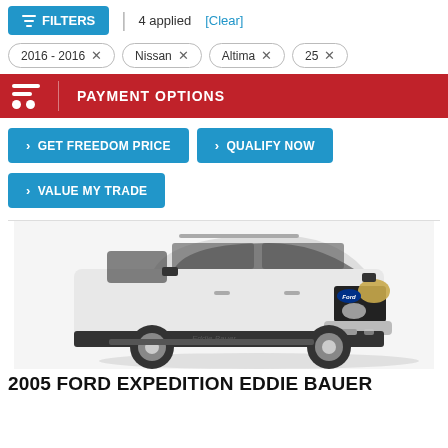[Figure (screenshot): Filter bar with blue FILTERS button, '4 applied' text and [Clear] link]
2016 - 2016 ×
Nissan ×
Altima ×
25 ×
[Figure (infographic): Red PAYMENT OPTIONS banner with cart icon]
> GET FREEDOM PRICE
> QUALIFY NOW
> VALUE MY TRADE
[Figure (photo): White Ford Expedition Eddie Bauer SUV, front 3/4 view on white background]
2005 FORD EXPEDITION EDDIE BAUER